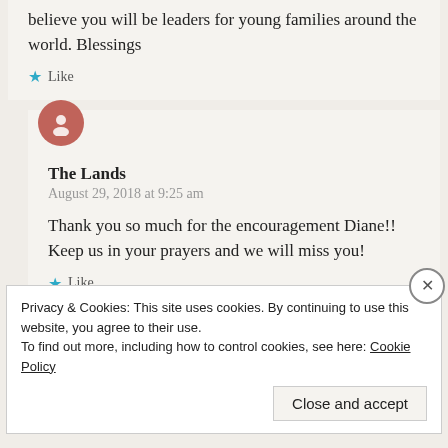believe you will be leaders for young families around the world. Blessings
Like
The Lands
August 29, 2018 at 9:25 am
Thank you so much for the encouragement Diane!! Keep us in your prayers and we will miss you!
Like
Privacy & Cookies: This site uses cookies. By continuing to use this website, you agree to their use.
To find out more, including how to control cookies, see here: Cookie Policy
Close and accept